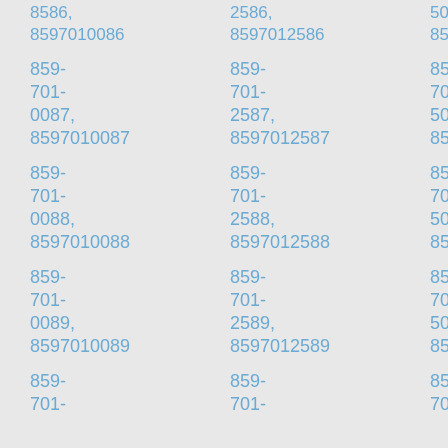8586, 8597010086 859-701-0087, 8597010087 859-701-0088, 8597010088 859-701-0089, 8597010089 859-701-
2586, 8597012586 859-701-2587, 8597012587 859-701-2588, 8597012588 859-701-2589, 8597012589 859-701-
5086, 8597015086 859-701-5087, 8597015087 859-701-5088, 8597015088 859-701-5089, 8597015089 859-701-
7586, 8597017586 859-701-7587, 8597017587 859-701-7588, 8597017588 859-701-7589, 8597017589 859-701-